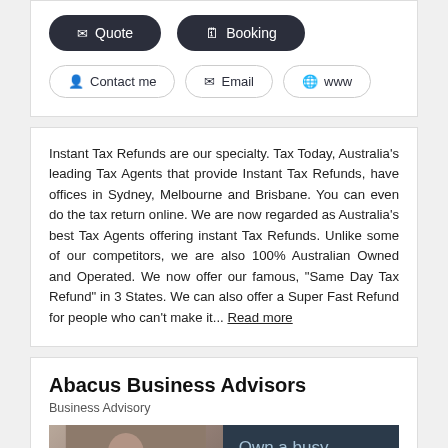[Figure (screenshot): Two dark pill-shaped buttons: Quote (with envelope icon) and Booking (with calendar icon)]
[Figure (screenshot): Three outline pill-shaped buttons: Contact me (with person icon), Email (with envelope icon), www (with globe icon)]
Instant Tax Refunds are our specialty. Tax Today, Australia's leading Tax Agents that provide Instant Tax Refunds, have offices in Sydney, Melbourne and Brisbane. You can even do the tax return online. We are now regarded as Australia's best Tax Agents offering instant Tax Refunds. Unlike some of our competitors, we are also 100% Australian Owned and Operated. We now offer our famous, "Same Day Tax Refund" in 3 States. We can also offer a Super Fast Refund for people who can't make it... Read more
Abacus Business Advisors
Business Advisory
[Figure (photo): A woman with glasses and blonde hair looking down, beside a dark blue panel with text 'Own a busy Accounting practice?']